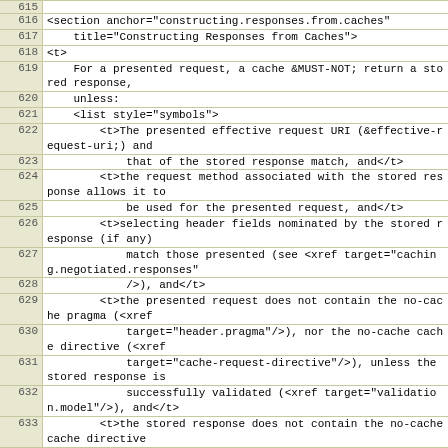| line | code |
| --- | --- |
| 615 |  |
| 616 | <section anchor="constructing.responses.from.caches" |
| 617 |     title="Constructing Responses from Caches"> |
| 618 | <t> |
| 619 |     For a presented request, a cache &MUST-NOT; return a stored response, |
| 620 |     unless: |
| 621 |     <list style="symbols"> |
| 622 |         <t>The presented effective request URI (&effective-request-uri;) and |
| 623 |             that of the stored response match, and</t> |
| 624 |         <t>the request method associated with the stored response allows it to |
| 625 |             be used for the presented request, and</t> |
| 626 |         <t>selecting header fields nominated by the stored response (if any) |
| 627 |             match those presented (see <xref target="caching.negotiated.responses" |
| 628 |             />), and</t> |
| 629 |         <t>the presented request does not contain the no-cache pragma (<xref |
| 630 |             target="header.pragma"/>), nor the no-cache cache directive (<xref |
| 631 |             target="cache-request-directive"/>), unless the stored response is |
| 632 |             successfully validated (<xref target="validation.model"/>), and</t> |
| 633 |         <t>the stored response does not contain the no-cache cache directive |
| 634 |             (<xref target="cache-response-directive"/>), unless it is successfully |
| 635 |             validated (<xref target="validation.model"/>), and</t> |
| 636 |         <t>the stored response is either: |